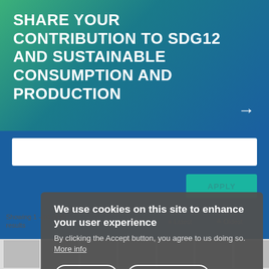SHARE YOUR CONTRIBUTION TO SDG12 AND SUSTAINABLE CONSUMPTION AND PRODUCTION
APPLY
Showing 1 - 10 of 30 results
Sort by:
Latest
Oldest
We use cookies on this site to enhance your user experience
By clicking the Accept button, you agree to us doing so. More info
ACCEPT
NO, THANKS